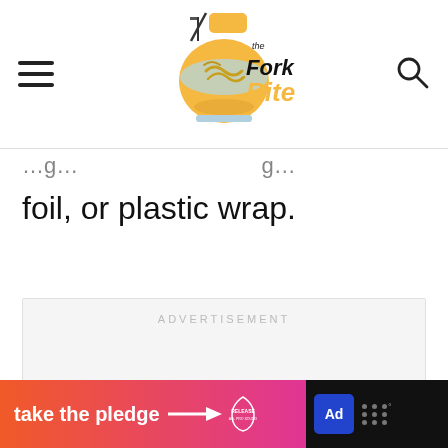[Figure (logo): The Fork Bite website logo with hamburger menu icon on left and search icon on right]
foil, or plastic wrap.
[Figure (other): Advertisement placeholder box with ADVERTISEMENT label]
[Figure (other): Bottom banner ad: take the pledge with arrow, Release and ad badge logos]